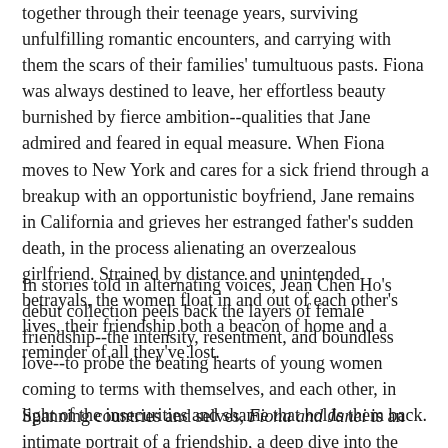together through their teenage years, surviving unfulfilling romantic encounters, and carrying with them the scars of their families' tumultuous pasts. Fiona was always destined to leave, her effortless beauty burnished by fierce ambition--qualities that Jane admired and feared in equal measure. When Fiona moves to New York and cares for a sick friend through a breakup with an opportunistic boyfriend, Jane remains in California and grieves her estranged father's sudden death, in the process alienating an overzealous girlfriend. Strained by distance and unintended betrayals, the women float in and out of each other's lives, their friendship both a beacon of home and a reminder of all they've lost.
In stories told in alternating voices, Jean Chen Ho's debut collection peels back the layers of female friendship--the intensity, resentment, and boundless love--to probe the beating hearts of young women coming to terms with themselves, and each other, in light of the insecurities and shame that holds them back.
Spanning countries and selves, Fiona and Janei is an intimate portrait of a friendship, a deep dive into the universal